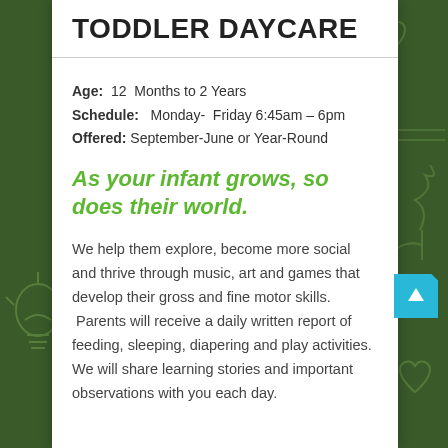TODDLER DAYCARE
Age:  12  Months to 2 Years
Schedule:  Monday-  Friday 6:45am – 6pm
Offered: September-June or Year-Round
As your infant grows, so does their world.
We help them explore, become more social and thrive through music, art and games that develop their gross and fine motor skills.  Parents will receive a daily written report of feeding, sleeping, diapering and play activities. We will share learning stories and important observations with you each day.